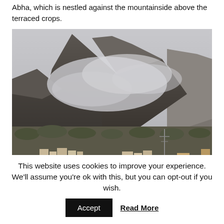Abha, which is nestled against the mountainside above the terraced crops.
[Figure (photo): Photograph of a misty mountain landscape with rocky peaks partially obscured by low clouds or smoke, with buildings and vegetation visible at the lower slopes, likely in Abha, Saudi Arabia.]
This website uses cookies to improve your experience. We'll assume you're ok with this, but you can opt-out if you wish.
Accept  Read More